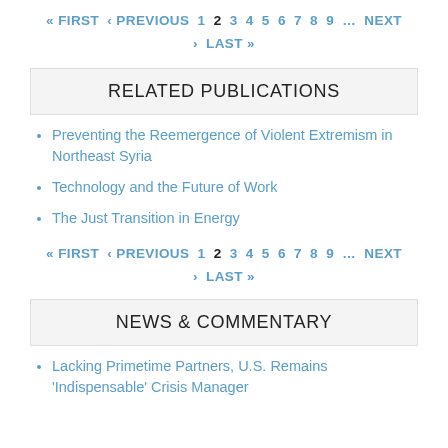« FIRST ‹ PREVIOUS 1 2 3 4 5 6 7 8 9 … NEXT › LAST »
RELATED PUBLICATIONS
Preventing the Reemergence of Violent Extremism in Northeast Syria
Technology and the Future of Work
The Just Transition in Energy
« FIRST ‹ PREVIOUS 1 2 3 4 5 6 7 8 9 … NEXT › LAST »
NEWS & COMMENTARY
Lacking Primetime Partners, U.S. Remains 'Indispensable' Crisis Manager